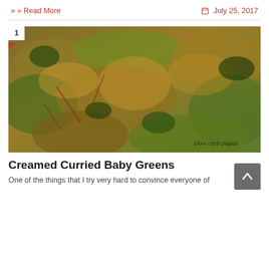» Read More    July 25, 2017
[Figure (photo): Close-up photo of creamed curried baby greens dish — wilted leafy greens coated in a golden curry cream sauce, with watermark text '(low carb papa)' in lower right corner. Number badge '1' in upper left corner.]
Creamed Curried Baby Greens
One of the things that I try very hard to convince everyone of